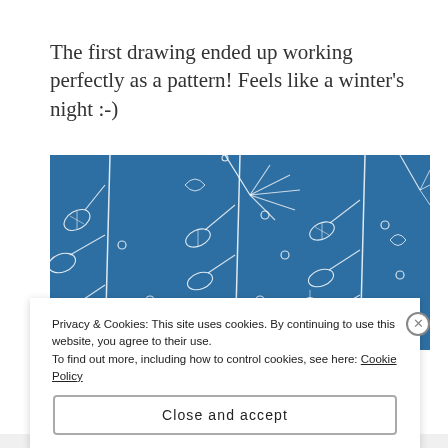The first drawing ended up working perfectly as a pattern! Feels like a winter's night :-)
[Figure (illustration): A blue background repeating winter botanical pattern with white line-drawn leaves, pine branches, and circular dot elements arranged as a seamless pattern.]
Privacy & Cookies: This site uses cookies. By continuing to use this website, you agree to their use.
To find out more, including how to control cookies, see here: Cookie Policy
Close and accept